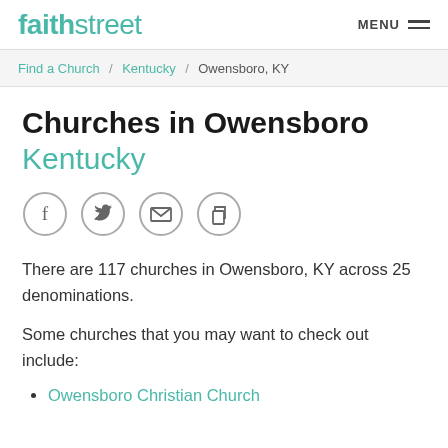faithstreet  MENU
Find a Church / Kentucky / Owensboro, KY
Churches in Owensboro Kentucky
[Figure (infographic): Four social sharing icon circles: Facebook (f), Twitter (bird), Email (envelope), Copy (duplicate pages)]
There are 117 churches in Owensboro, KY across 25 denominations.
Some churches that you may want to check out include:
Owensboro Christian Church